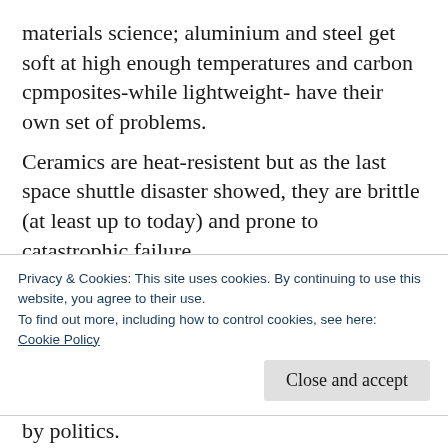materials science; aluminium and steel get soft at high enough temperatures and carbon cpmposites-while lightweight- have their own set of problems.
Ceramics are heat-resistent but as the last space shuttle disaster showed, they are brittle (at least up to today) and prone to catastrophic failure.
Flying cars demand a level of computer control we only are approaching recently, the same goes for walking robots.
Privacy & Cookies: This site uses cookies. By continuing to use this website, you agree to their use.
To find out more, including how to control cookies, see here:
Cookie Policy
Close and accept
by politics.